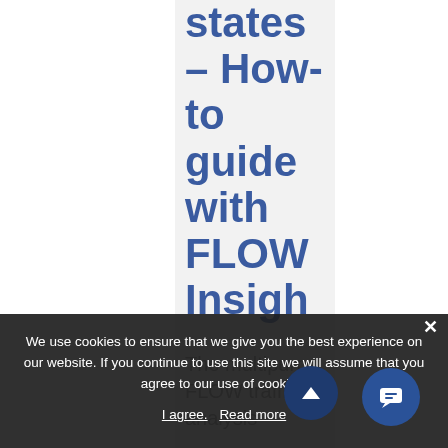states – How-to guide with FLOW Insigh
The multipurp FLOW traffic analysis
We use cookies to ensure that we give you the best experience on our website. If you continue to use this site we will assume that you agree to our use of cookies.
I agree. Read more